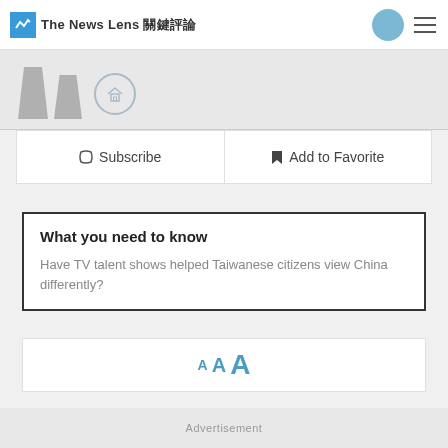The News Lens 關鍵評論
[Figure (illustration): Two silhouette figures with a home/house icon circle between them, on a light grey background]
Subscribe | Add to Favorite
What you need to know
Have TV talent shows helped Taiwanese citizens view China differently?
[Figure (other): Font size selector showing three 'A' letters in increasing size in blue/teal color]
Advertisement